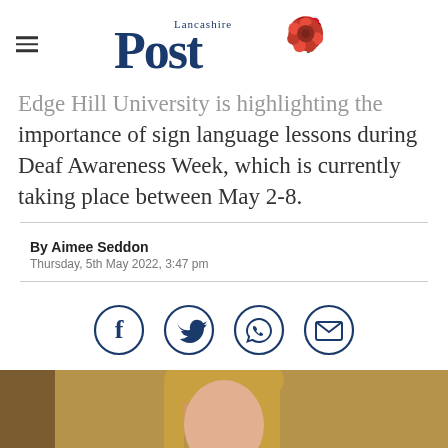Lancashire Post
Edge Hill University is highlighting the importance of sign language lessons during Deaf Awareness Week, which is currently taking place between May 2-8.
By Aimee Seddon
Thursday, 5th May 2022, 3:47 pm
[Figure (infographic): Social sharing icons: Facebook, Twitter, WhatsApp, Email]
[Figure (photo): Photo of a woman with blonde hair]